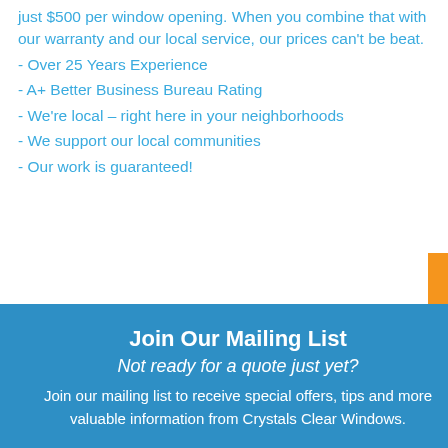just $500 per window opening. When you combine that with our warranty and our local service, our prices can't be beat.
- Over 25 Years Experience
- A+ Better Business Bureau Rating
- We're local – right here in your neighborhoods
- We support our local communities
- Our work is guaranteed!
Join Our Mailing List
Not ready for a quote just yet?
Join our mailing list to receive special offers, tips and more valuable information from Crystals Clear Windows.